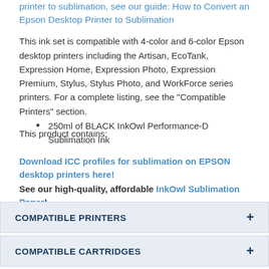printer to sublimation, see our guide: How to Convert an Epson Desktop Printer to Sublimation
This ink set is compatible with 4-color and 6-color Epson desktop printers including the Artisan, EcoTank, Expression Home, Expression Photo, Expression Premium, Stylus, Stylus Photo, and WorkForce series printers. For a complete listing, see the "Compatible Printers" section.
This product contains:
250ml of BLACK InkOwl Performance-D Sublimation Ink
Download ICC profiles for sublimation on EPSON desktop printers here!
See our high-quality, affordable InkOwl Sublimation Paper!
COMPATIBLE PRINTERS
COMPATIBLE CARTRIDGES